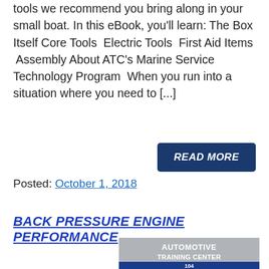tools we recommend you bring along in your small boat. In this eBook, you'll learn: The Box Itself Core Tools  Electric Tools  First Aid Items  Assembly About ATC's Marine Service Technology Program  When you run into a situation where you need to [...]
READ MORE
Posted: October 1, 2018
BACK PRESSURE ENGINE PERFORMANCE
[Figure (logo): Automotive Training Center logo with '104' graphic and ATC emblem on blue and gray background]